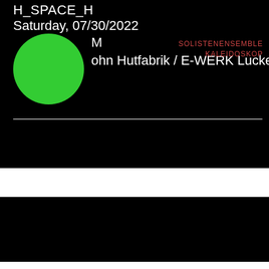H_SPACE_H
Saturday, 07/30/2022
8PM
Hohn Hutfabrik / E-WERK Luckenwalde
SOLISTENENSEMBLE KALEIDOSKOP
[Figure (illustration): Green filled circle overlapping the time and partial location text lines]
[Figure (other): Black rectangle — dark section bottom half of page]